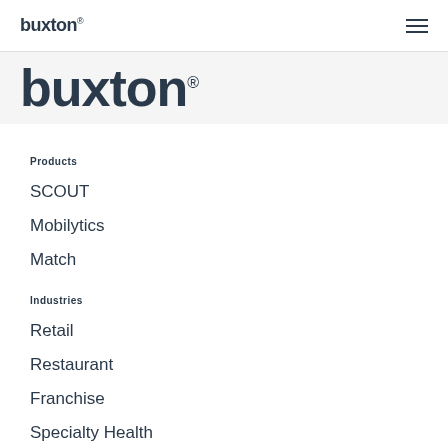buxton
buxton
Products
SCOUT
Mobilytics
Match
Industries
Retail
Restaurant
Franchise
Specialty Health